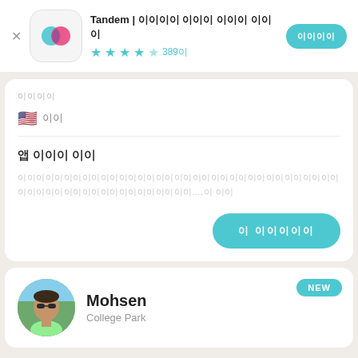[Figure (screenshot): App store listing header for Tandem app with icon, title, star rating, and install button]
이름이름
🇺🇸 미국
앱 리뷰 작성
이이이이이이이이이이이이이이이이이이이이이이이이이이이이이이이이이이이이이이...이 더보
[Figure (screenshot): 더 보이기 button (teal/aqua pill-shaped button)]
[Figure (photo): User profile card for Mohsen, College Park with NEW badge]